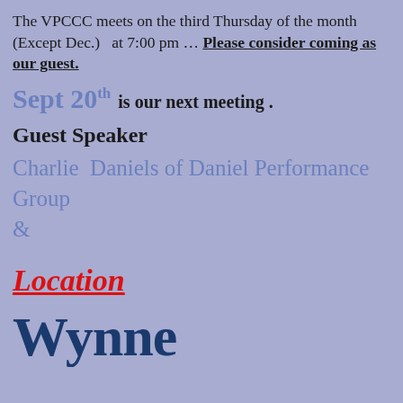The VPCCC meets on the third Thursday of the month (Except Dec.)   at 7:00 pm … Please consider coming as our guest.
Sept 20th   is our next meeting .
Guest Speaker
Charlie  Daniels of Daniel Performance Group
&
Location
Wynne